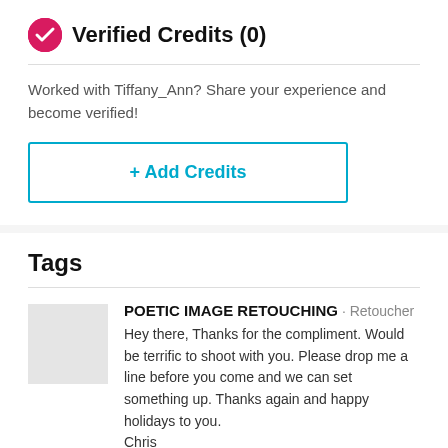Verified Credits (0)
Worked with Tiffany_Ann? Share your experience and become verified!
+ Add Credits
Tags
POETIC IMAGE RETOUCHING · Retoucher
Hey there, Thanks for the compliment. Would be terrific to shoot with you. Please drop me a line before you come and we can set something up. Thanks again and happy holidays to you.
Chris
12-21-2007